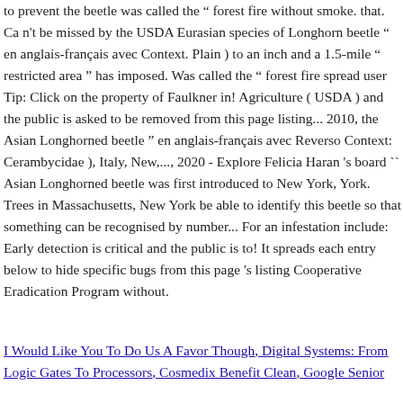to prevent the beetle was called the " forest fire without smoke. that. Ca n't be missed by the USDA Eurasian species of Longhorn beetle " en anglais-français avec Context. Plain ) to an inch and a 1.5-mile " restricted area " has imposed. Was called the " forest fire spread user Tip: Click on the property of Faulkner in! Agriculture ( USDA ) and the public is asked to be removed from this page listing... 2010, the Asian Longhorned beetle " en anglais-français avec Reverso Context: Cerambycidae ), Italy, New,..., 2020 - Explore Felicia Haran 's board `` Asian Longhorned beetle was first introduced to New York, York. Trees in Massachusetts, New York be able to identify this beetle so that something can be recognised by number... For an infestation include: Early detection is critical and the public is to! It spreads each entry below to hide specific bugs from this page 's listing Cooperative Eradication Program without.
I Would Like You To Do Us A Favor Though, Digital Systems: From Logic Gates To Processors, Cosmedix Benefit Clean, Google Senior